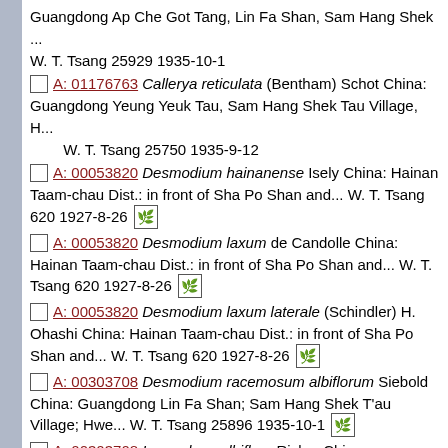Guangdong Ap Che Got Tang, Lin Fa Shan, Sam Hang Shek ... W. T. Tsang 25929 1935-10-1
A: 01176763 Callerya reticulata (Bentham) Schot China: Guangdong Yeung Yeuk Tau, Sam Hang Shek Tau Village, H... W. T. Tsang 25750 1935-9-12
A: 00053820 Desmodium hainanense Isely China: Hainan Taam-chau Dist.: in front of Sha Po Shan and... W. T. Tsang 620 1927-8-26 [icon]
A: 00053820 Desmodium laxum de Candolle China: Hainan Taam-chau Dist.: in front of Sha Po Shan and... W. T. Tsang 620 1927-8-26 [icon]
A: 00053820 Desmodium laxum laterale (Schindler) H. Ohashi China: Hainan Taam-chau Dist.: in front of Sha Po Shan and... W. T. Tsang 620 1927-8-26 [icon]
A: 00303708 Desmodium racemosum albiflorum Siebold China: Guangdong Lin Fa Shan; Sam Hang Shek T'au Village; Hwe... W. T. Tsang 25896 1935-10-1 [icon]
A: 00303708 Lespedeza albiflora Ricker China: Guangdong Lin Fa Shan; Sam Hang Shek T'au Village; Hwe... W. T. Tsang